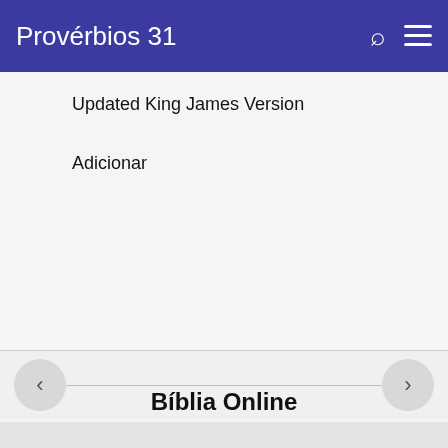Provérbios 31
Updated King James Version
Adicionar
[Figure (screenshot): Navigation bar with left arrow button, horizontal divider line, and right arrow button]
Bíblia Online